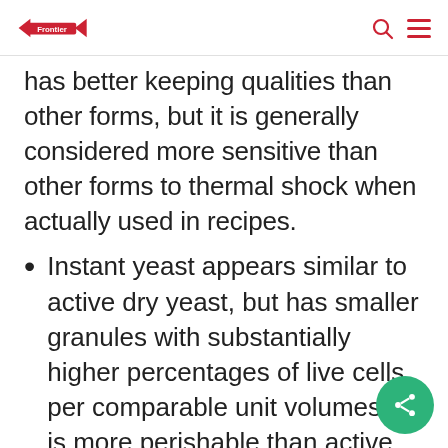Frontier [logo] [search icon] [menu icon]
has better keeping qualities than other forms, but it is generally considered more sensitive than other forms to thermal shock when actually used in recipes.
Instant yeast appears similar to active dry yeast, but has smaller granules with substantially higher percentages of live cells per comparable unit volumes. It is more perishable than active dry yeast, six months at room temperature or one year in the freezer.